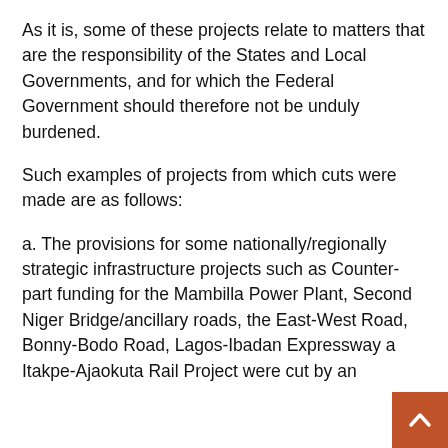As it is, some of these projects relate to matters that are the responsibility of the States and Local Governments, and for which the Federal Government should therefore not be unduly burdened.
Such examples of projects from which cuts were made are as follows:
a. The provisions for some nationally/regionally strategic infrastructure projects such as Counter-part funding for the Mambilla Power Plant, Second Niger Bridge/ancillary roads, the East-West Road, Bonny-Bodo Road, Lagos-Ibadan Expressway and Itakpe-Ajaokuta Rail Project were cut by an